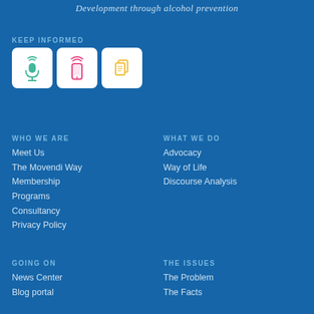Development through alcohol prevention
KEEP INFORMED
[Figure (illustration): Three white rounded-square icons: a green microphone with wifi waves, a pink smartphone with wifi waves, and a yellow document/copy icon]
WHO WE ARE
Meet Us
The Movendi Way
Membership
Programs
Consultancy
Privacy Policy
WHAT WE DO
Advocacy
Way of Life
Discourse Analysis
GOING ON
News Center
Blog portal
THE ISSUES
The Problem
The Facts